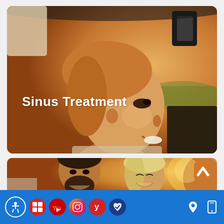[Figure (photo): Woman smiling in a car, warm golden hour lighting, with text 'Sinus Treatment' overlaid in white]
Sinus Treatment
[Figure (photo): Group of friends smiling and laughing outdoors in golden sunset light, man with beard on left, blonde woman in center]
Accessibility | Google My Business | YouTube | Instagram | Yelp | Healthgrades | Location | Mobile